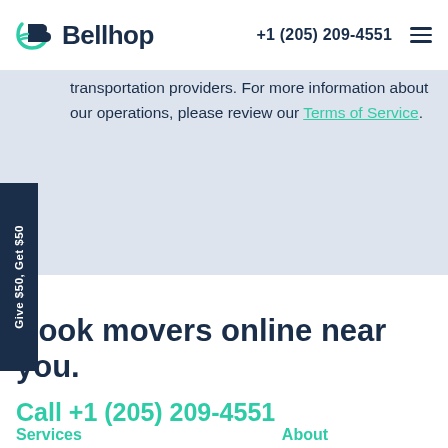Bellhop | +1 (205) 209-4551
transportation providers. For more information about our operations, please review our Terms of Service.
Give $50, Get $50
Book movers online near you.
Call +1 (205) 209-4551
Services  About